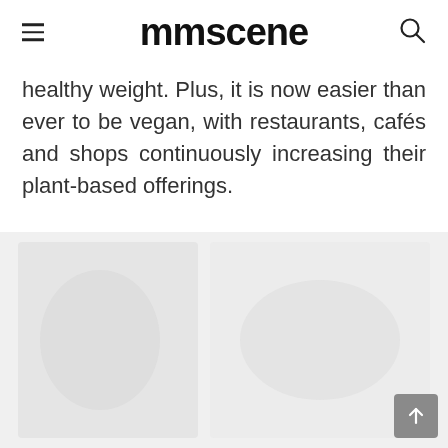mmscene
healthy weight. Plus, it is now easier than ever to be vegan, with restaurants, cafés and shops continuously increasing their plant-based offerings.
[Figure (photo): Partially visible image below the article text, appears to be a lifestyle or food-related photograph with light tones.]